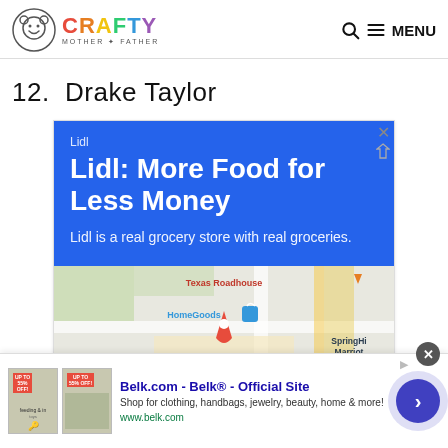CRAFTY MOTHER * FATHER — MENU
12.  Drake Taylor
[Figure (screenshot): Lidl Google ad: blue box with 'Lidl' label, headline 'Lidl: More Food for Less Money', body text 'Lidl is a real grocery store with real groceries.' Below is a Google Maps view showing Texas Roadhouse, HomeGoods, SpringHill Marriott, EatLoco Fa... with a red map pin.]
[Figure (screenshot): Bottom banner ad for Belk.com - Belk® - Official Site. Shows product thumbnails, text 'Shop for clothing, handbags, jewelry, beauty, home & more! www.belk.com', and a blue circular CTA button with right arrow. Close button (X) at top right.]